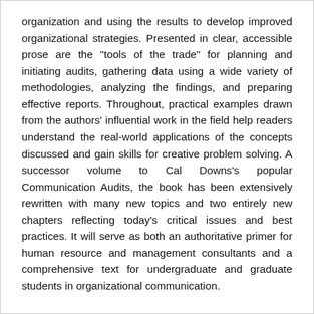organization and using the results to develop improved organizational strategies. Presented in clear, accessible prose are the "tools of the trade" for planning and initiating audits, gathering data using a wide variety of methodologies, analyzing the findings, and preparing effective reports. Throughout, practical examples drawn from the authors' influential work in the field help readers understand the real-world applications of the concepts discussed and gain skills for creative problem solving. A successor volume to Cal Downs's popular Communication Audits, the book has been extensively rewritten with many new topics and two entirely new chapters reflecting today's critical issues and best practices. It will serve as both an authoritative primer for human resource and management consultants and a comprehensive text for undergraduate and graduate students in organizational communication.